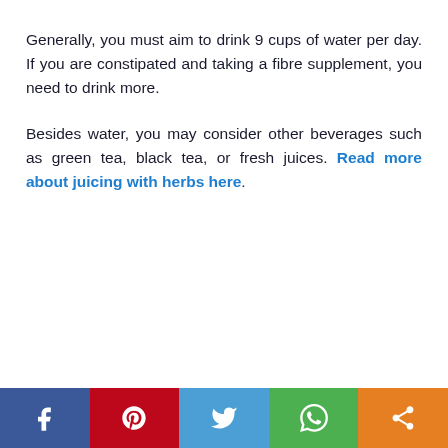Generally, you must aim to drink 9 cups of water per day. If you are constipated and taking a fibre supplement, you need to drink more.
Besides water, you may consider other beverages such as green tea, black tea, or fresh juices. Read more about juicing with herbs here.
[Figure (infographic): Social media sharing bar with Facebook, Pinterest, Twitter, WhatsApp, and share icons]